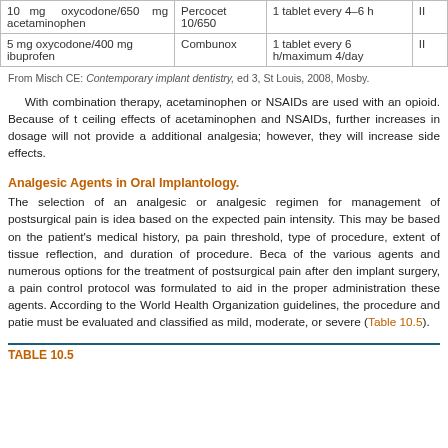|  |  |  |  |
| --- | --- | --- | --- |
| 10 mg oxycodone/650 mg acetaminophen | Percocet 10/650 | 1 tablet every 4–6 h | II |
| 5 mg oxycodone/400 mg ibuprofen | Combunox | 1 tablet every 6 h/maximum 4/day | II |
From Misch CE: Contemporary implant dentistry, ed 3, St Louis, 2008, Mosby.
With combination therapy, acetaminophen or NSAIDs are used with an opioid. Because of the ceiling effects of acetaminophen and NSAIDs, further increases in dosage will not provide additional analgesia; however, they will increase side effects.
Analgesic Agents in Oral Implantology.
The selection of an analgesic or analgesic regimen for management of postsurgical pain is ideally based on the expected pain intensity. This may be based on the patient's medical history, pain threshold, type of procedure, extent of tissue reflection, and duration of procedure. Because of the various agents and numerous options for the treatment of postsurgical pain after dental implant surgery, a pain control protocol was formulated to aid in the proper administration of these agents. According to the World Health Organization guidelines, the procedure and patient must be evaluated and classified as mild, moderate, or severe (Table 10.5).
TABLE 10.5